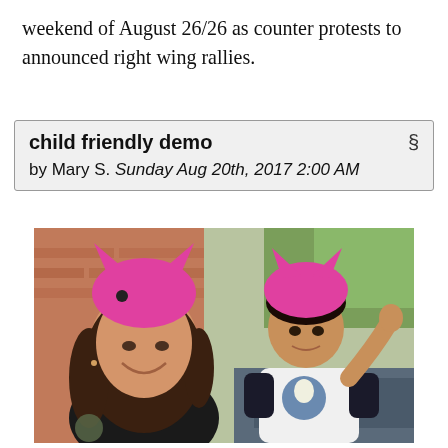weekend of August 26/26 as counter protests to announced right wing rallies.
child friendly demo
by Mary S. Sunday Aug 20th, 2017 2:00 AM
[Figure (photo): A woman and a young child both wearing bright pink knitted cat-ear hats (pussy hats). The woman is smiling and taking a selfie. The child is wearing a black and white baseball-style shirt with a cartoon character on it. They appear to be outdoors near a brick wall and trees.]